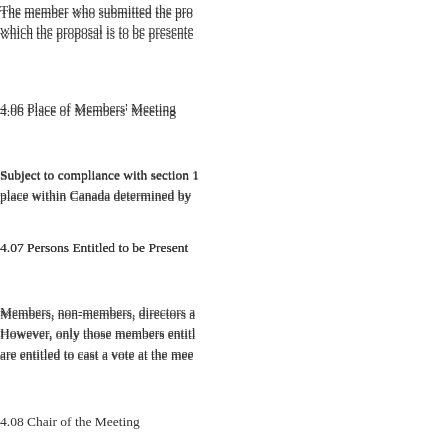The member who submitted the pro which the proposal is to be presente
4.06 Place of Members' Meeting
Subject to compliance with section 1 place within Canada determined by
4.07 Persons Entitled to be Present
Members, non-members, directors a However, only those members entitl are entitled to cast a vote at the mee
4.08 Chair of the Meeting
In the event that the President, the v present and entitled to vote at the m
4.09 Quorum at Members' Meetings
A quorum at any meeting of the me members entitled to vote at the mee a meeting of members, the member throughout the meeting.